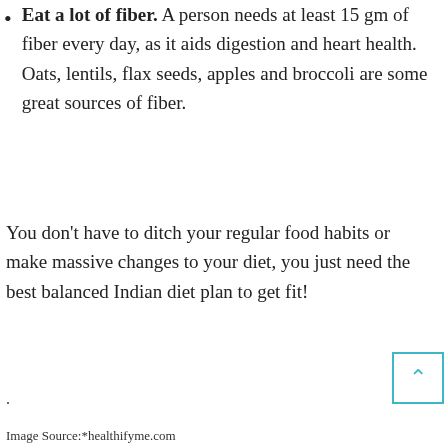Eat a lot of fiber. A person needs at least 15 gm of fiber every day, as it aids digestion and heart health. Oats, lentils, flax seeds, apples and broccoli are some great sources of fiber.
You don't have to ditch your regular food habits or make massive changes to your diet, you just need the best balanced Indian diet plan to get fit!
.
Image Source:*healthifyme.com